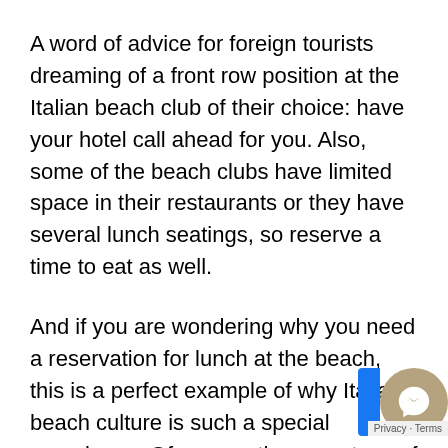A word of advice for foreign tourists dreaming of a front row position at the Italian beach club of their choice: have your hotel call ahead for you. Also, some of the beach clubs have limited space in their restaurants or they have several lunch seatings, so reserve a time to eat as well.
And if you are wondering why you need a reservation for lunch at the beach, this is a perfect example of why Italian beach culture is such a special experience. Of course, there are tons of beach shacks and stands where a casual take-away lunch can be enjoyed but many of the beach clubs have their own restaurants. These restaurants range from rustic establishments with chairs on the rocks and menus scrawled on